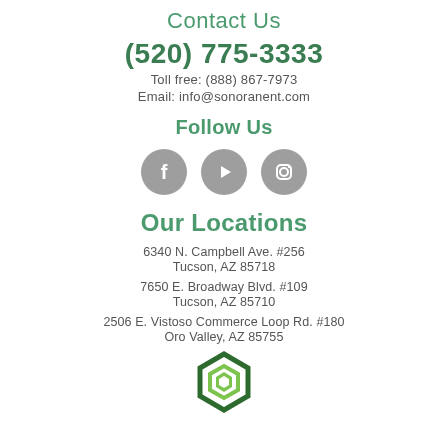Contact Us
(520) 775-3333
Toll free: (888) 867-7973
Email: info@sonoranent.com
Follow Us
[Figure (illustration): Three social media icons in grey circles: Facebook, YouTube, Instagram]
Our Locations
6340 N. Campbell Ave. #256
Tucson, AZ 85718
7650 E. Broadway Blvd. #109
Tucson, AZ 85710
2506 E. Vistoso Commerce Loop Rd. #180
Oro Valley, AZ 85755
[Figure (logo): Sonoran ENT logo - geometric green hexagon/flower shape]